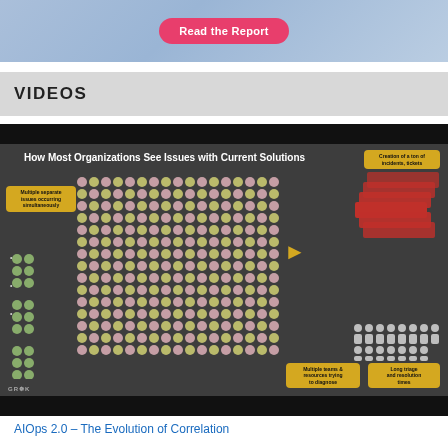[Figure (screenshot): Banner with 'Read the Report' pink button on a light blue/purple gradient background]
VIDEOS
[Figure (screenshot): Video thumbnail showing a slide titled 'How Most Organizations See Issues with Current Solutions' with colored dots representing multiple simultaneous issues, arrows pointing to red stacked cards (incidents/tickets), people icons, and yellow label boxes describing problems: 'Multiple separate issues occurring simultaneously', 'Creation of a ton of incidents, tickets', 'Multiple teams & resources trying to diagnose', 'Long triage and resolution times'. GRIK logo in bottom left.]
AIOps 2.0 – The Evolution of Correlation